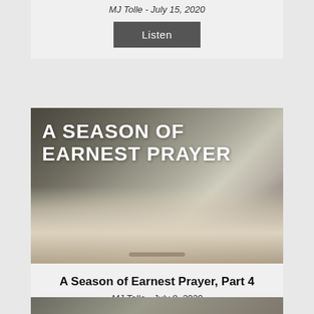MJ Tolle - July 15, 2020
[Figure (other): Listen button for sermon]
[Figure (photo): Open Bible with text overlay: A SEASON OF EARNEST PRAYER]
A Season of Earnest Prayer, Part 4
MJ Tolle - July 8, 2020
[Figure (other): Listen button for sermon]
[Figure (photo): Partial view of next sermon image with text: A SEASON OF]